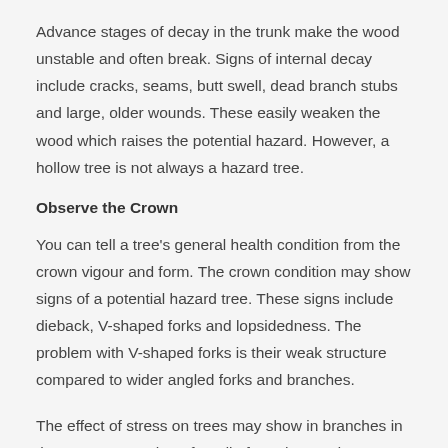Advance stages of decay in the trunk make the wood unstable and often break. Signs of internal decay include cracks, seams, butt swell, dead branch stubs and large, older wounds. These easily weaken the wood which raises the potential hazard. However, a hollow tree is not always a hazard tree.
Observe the Crown
You can tell a tree's general health condition from the crown vigour and form. The crown condition may show signs of a potential hazard tree. These signs include dieback, V-shaped forks and lopsidedness. The problem with V-shaped forks is their weak structure compared to wider angled forks and branches.
The effect of stress on trees may show in branches in the upper crown that often die from the top down. Other factors that may cause stress to a tree include repeated insect defoliation, long periods of drought and root disease. Trees can regain health from